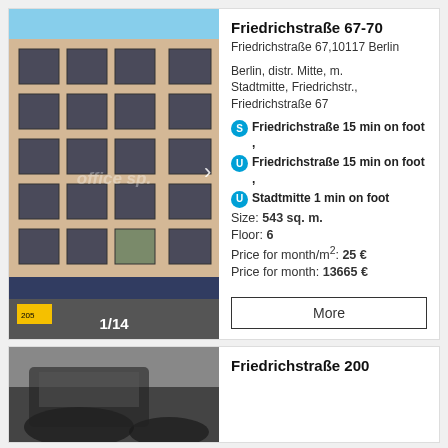[Figure (photo): Exterior facade of Friedrichstraße 67-70 building in Berlin, showing a multi-story commercial building with large windows, stone/beige facade, and awning at street level. Shows 1/14 counter.]
Friedrichstraße 67-70
Friedrichstraße 67,10117 Berlin
Berlin, distr. Mitte, m. Stadtmitte, Friedrichstr., Friedrichstraße 67
S Friedrichstraße 15 min on foot ,
U Friedrichstraße 15 min on foot ,
U Stadtmitte 1 min on foot
Size: 543 sq. m.
Floor: 6
Price for month/m²: 25 €
Price for month: 13665 €
More
[Figure (photo): Partial view of second property listing photo, showing a dark vehicle in foreground.]
Friedrichstraße 200